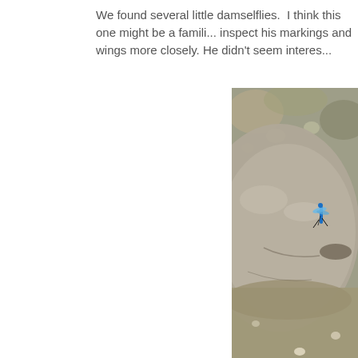We found several little damselflies.  I think this one might be a familiar bluet. I wanted to inspect his markings and wings more closely. He didn't seem interes...
[Figure (photo): Close-up photograph of a blue damselfly perched on a large grey rock, with smaller pebbles and rocks visible in the background.]